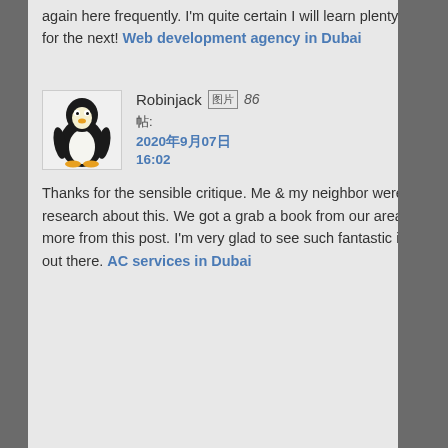again here frequently. I'm quite certain I will learn plenty of new stuff right here! Good luck for the next! Web development agency in Dubai
[Figure (photo): Linux Tux penguin avatar/logo image]
Robinjack [图片] 86 帖: 2020年9月07日 16:02
Thanks for the sensible critique. Me & my neighbor were just preparing to do a little research about this. We got a grab a book from our area library but I think I learned more from this post. I'm very glad to see such fantastic information being shared freely out there. AC services in Dubai